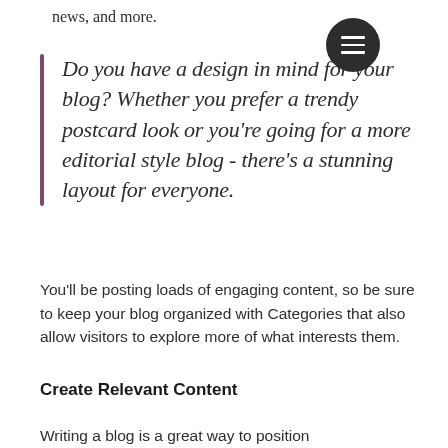news, and more.
[Figure (other): Hamburger menu icon — dark circle with three white horizontal lines]
Do you have a design in mind for your blog? Whether you prefer a trendy postcard look or you're going for a more editorial style blog - there's a stunning layout for everyone.
You'll be posting loads of engaging content, so be sure to keep your blog organized with Categories that also allow visitors to explore more of what interests them.
Create Relevant Content
Writing a blog is a great way to position